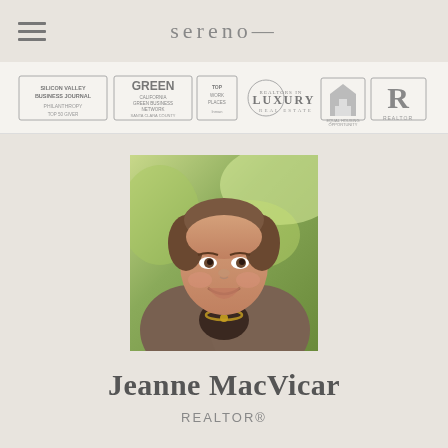sereno—
[Figure (logo): Row of badges: Silicon Valley Business Journal, Philanthropy Top 50 Giver, Green California Green Business Network, Top Work Places, Luxury Real Estate, Equal Housing Opportunity, REALTOR]
[Figure (photo): Professional headshot of Jeanne MacVicar, a woman with short brown hair wearing a tweed jacket and gold necklace, photographed outdoors with green foliage background]
Jeanne MacVicar
REALTOR®